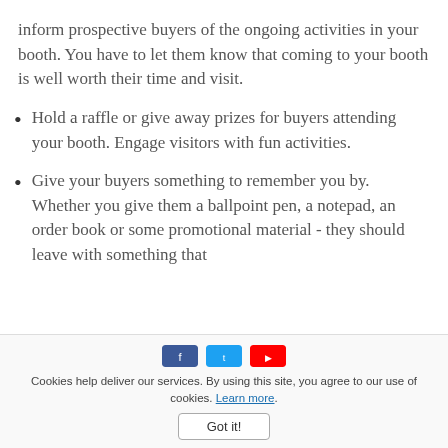inform prospective buyers of the ongoing activities in your booth. You have to let them know that coming to your booth is well worth their time and visit.
Hold a raffle or give away prizes for buyers attending your booth. Engage visitors with fun activities.
Give your buyers something to remember you by. Whether you give them a ballpoint pen, a notepad, an order book or some promotional material - they should leave with something that
Cookies help deliver our services. By using this site, you agree to our use of cookies. Learn more. Got it!